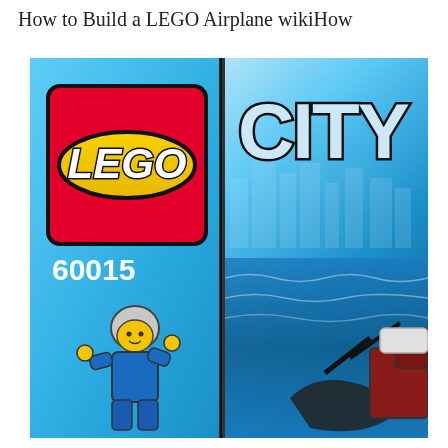How to Build a LEGO Airplane wikiHow
[Figure (photo): LEGO City set box art showing the LEGO logo on a red background, the set number 60015, a LEGO minifigure in blue overalls, and the LEGO City logo, with a water/ocean scene in the background.]